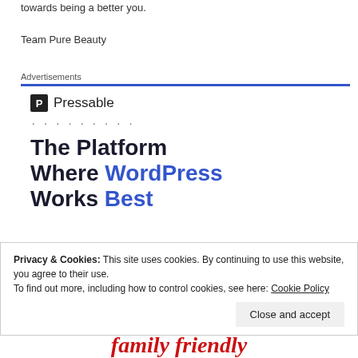towards being a better you.
Team Pure Beauty
Advertisements
[Figure (logo): Pressable logo with dark square icon showing 'P' and the word 'Pressable' next to it, followed by a row of dots]
The Platform Where WordPress Works Best
[Figure (other): SEE PRICING blue button]
Privacy & Cookies: This site uses cookies. By continuing to use this website, you agree to their use.
To find out more, including how to control cookies, see here: Cookie Policy
Close and accept
family friendly